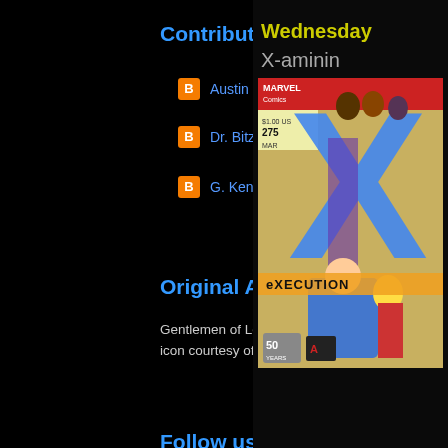Contributors
Austin Gorton
Dr. Bitz
G. Kendall
Original Art
Gentlemen of Leisure banner art, "Onslaught" header, and "Last Week in TV" icon courtesy of Ian Gorton. See more of his art and/or contact him here.
Follow us on Twitter
Austin "Teebore" Gorton: @AustinGorton
Dr. Bitz: @DoctorBitz
G. Kendall: @NBX_Tweets
Saved by the Bell Reviewed: The Podcast: @SBTB_Reviewed
A Very Special Episode: @AVSEPod
Wednesday
X-aminin
[Figure (illustration): Comic book cover with Marvel Comics branding, large blue X letter, characters, and text reading EXECUTION at bottom]